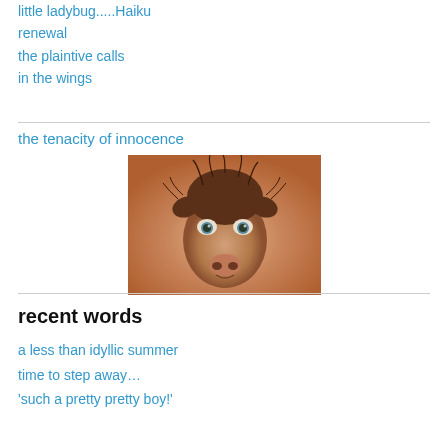little ladybug.....Haiku
renewal
the plaintive calls
in the wings
the tenacity of innocence
[Figure (illustration): Close-up drawing or painting of a young animal face (likely a calf or similar animal) with large eyes, on a warm orange-brown background.]
recent words
a less than idyllic summer
time to step away…
'such a pretty pretty boy!'